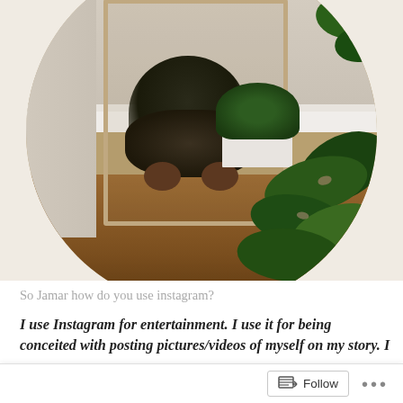[Figure (photo): Circular cropped photo of a person sitting cross-legged in front of a mirror in a room with houseplants and wooden floors, holding a plant. The room has white walls, a white rectangular planter with a plant, and a large leafy green plant in the foreground.]
So Jamar how do you use instagram?
I use Instagram for entertainment. I use it for being conceited with posting pictures/videos of myself on my story. I post pictures that I think are Instagram worthy, usually pictures of my outfits and pictures with nice backgrounds. I also use it for my news updates (The Shade Room) so I can know what's
Follow ...